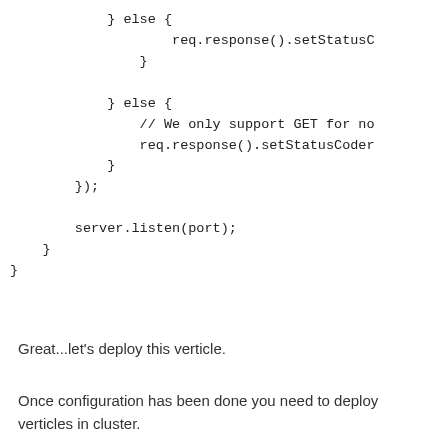} else {
                    req.response().setStatusC
                }

            } else {
                // We only support GET for no
                req.response().setStatusCoder
            }
        });

        server.listen(port);
    }
}
Great...let's deploy this verticle.
Once configuration has been done you need to deploy verticles in cluster.